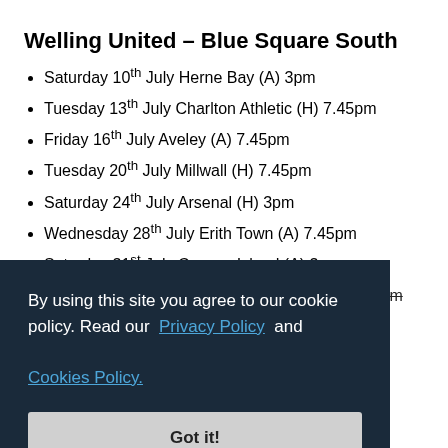Welling United – Blue Square South
Saturday 10th July Herne Bay (A) 3pm
Tuesday 13th July Charlton Athletic (H) 7.45pm
Friday 16th July Aveley (A) 7.45pm
Tuesday 20th July Millwall (H) 7.45pm
Saturday 24th July Arsenal (H) 3pm
Wednesday 28th July Erith Town (A) 7.45pm
Saturday 31st July Canvey Island (A) 3pm
Tuesday 3rd August Ashford Town (Kent) A 7.45pm
By using this site you agree to our cookie policy. Read our Privacy Policy and Cookies Policy.
Got it!